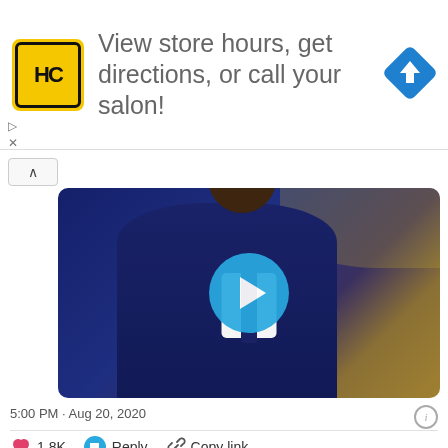[Figure (screenshot): Advertisement banner for HC (Hair Club) with yellow logo, text 'View store hours, get directions, or call your salon!', and a blue direction arrow icon]
[Figure (screenshot): Twitter video thumbnail showing a man in a navy suit and tie at a TV studio desk, with a blue play button overlay]
5:00 PM · Aug 20, 2020
1.8K  Reply  Copy link
Read 64 replies
Jimmy Carter @NWAJimmy · Follow